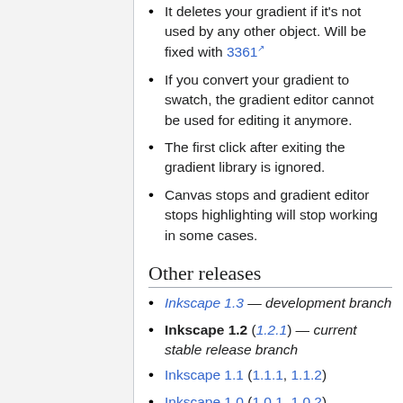It deletes your gradient if it's not used by any other object. Will be fixed with 3361
If you convert your gradient to swatch, the gradient editor cannot be used for editing it anymore.
The first click after exiting the gradient library is ignored.
Canvas stops and gradient editor stops highlighting will stop working in some cases.
Other releases
Inkscape 1.3 — development branch
Inkscape 1.2 (1.2.1) — current stable release branch
Inkscape 1.1 (1.1.1, 1.1.2)
Inkscape 1.0 (1.0.1, 1.0.2)
Inkscape 0.92 (0.92.1, 0.92.2, 0.92.3,